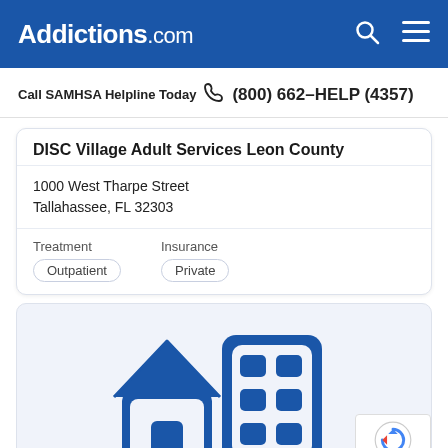Addictions.com
Call SAMHSA Helpline Today (800) 662-HELP (4357)
DISC Village Adult Services Leon County
1000 West Tharpe Street
Tallahassee, FL 32303
Treatment: Outpatient
Insurance: Private
[Figure (illustration): Blue icon illustration of a house and a multi-story building, representing residential/facility treatment center, on a light blue-grey background.]